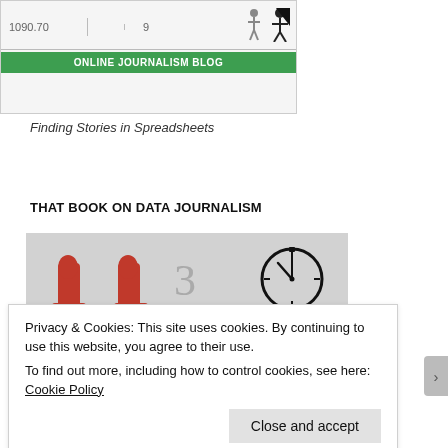[Figure (screenshot): Partial screenshot of a spreadsheet with values 1090.70 and 9, and a green banner reading ONLINE JOURNALISM BLOG with a black and white figure illustration]
Finding Stories in Spreadsheets
THAT BOOK ON DATA JOURNALISM
[Figure (illustration): Book cover illustration with red cowboy boots, number 3, a stopwatch/clock, a speech bubble with DATA JOURNALISM text, and number 2, on a grey background]
Privacy & Cookies: This site uses cookies. By continuing to use this website, you agree to their use.
To find out more, including how to control cookies, see here: Cookie Policy
Close and accept